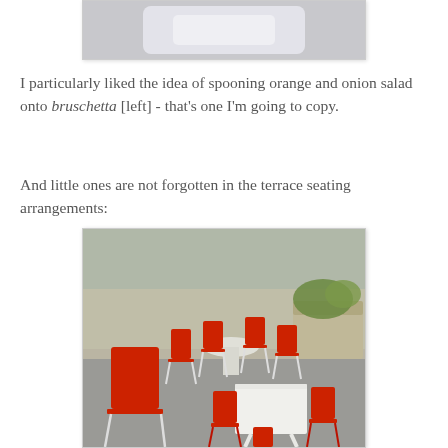[Figure (photo): Top portion of a photo showing a white dish/bowl on a light background, partially cropped]
I particularly liked the idea of spooning orange and onion salad onto bruschetta [left] - that's one I'm going to copy.
And little ones are not forgotten in the terrace seating arrangements:
[Figure (photo): Outdoor terrace with red chairs and white tables, including a small child-sized table and chairs set in the foreground, with greenery and stone wall in the background]